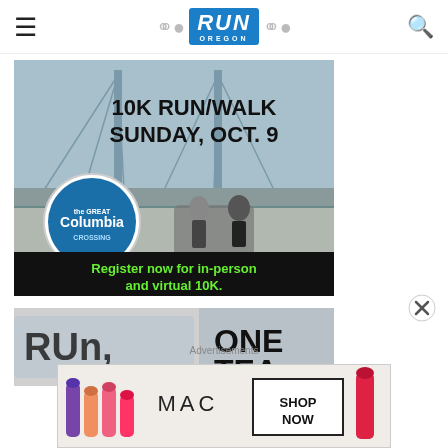RUN OREGON
[Figure (photo): The Great Columbia Crossing advertisement: 10K RUN/WALK SUNDAY, OCT. 9. Shows runners on a bridge with the Astoria-Megler Bridge in the background. Logo reads 'the GREAT Columbia CROSSING'. Register now for in-person and virtual 10K.]
[Figure (photo): Partial image showing running shirts/bib with text 'ONE TEAM' partially visible]
Advertisements
[Figure (photo): MAC Cosmetics advertisement showing lipsticks with SHOP NOW text]